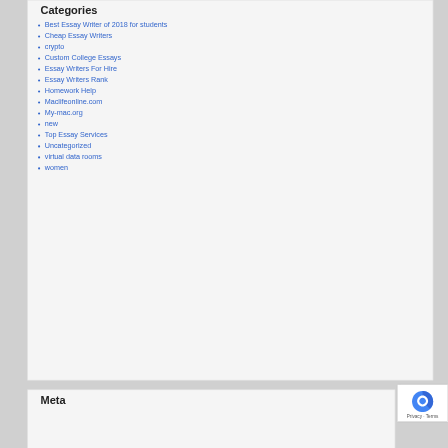Categories
Best Essay Writer of 2018 for students
Cheap Essay Writers
crypto
Custom College Essays
Essay Writers For Hire
Essay Writers Rank
Homework Help
Maclifeonline.com
My-mac.org
new
Top Essay Services
Uncategorized
virtual data rooms
women
Meta